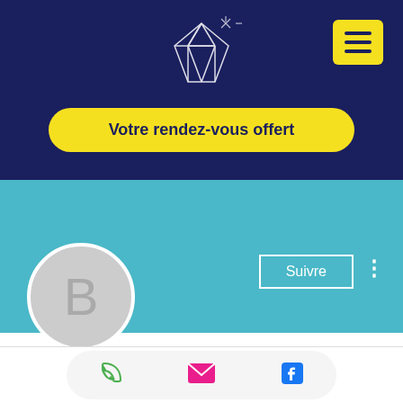[Figure (screenshot): Mobile app profile page for Bitstarz casino games. Dark navy header with diamond logo and yellow hamburger menu button. Yellow pill-shaped CTA button reading 'Votre rendez-vous offert'. Teal/cyan background band with 'Suivre' (Follow) button and three-dot menu. Gray circular avatar with letter B. Profile name 'Bitstarz casino games, bitsta...' with '0 Abonnés • 0 Abonnements'. Bottom action bar with phone, email, and Facebook icons.]